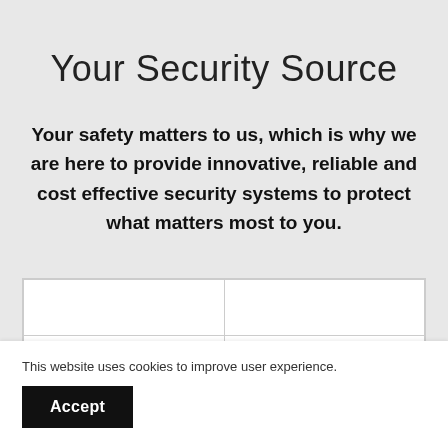Your Security Source
Your safety matters to us, which is why we are here to provide innovative, reliable and cost effective security systems to protect what matters most to you.
|  |  |
|  |  |
|  |  |
This website uses cookies to improve user experience.
Accept